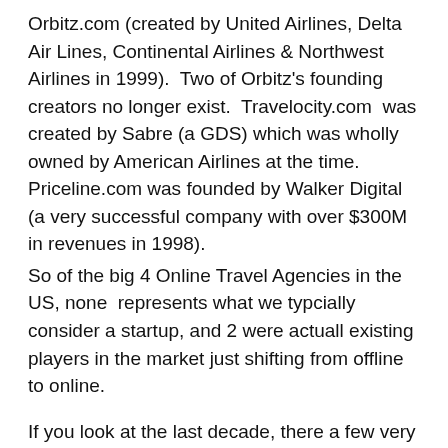Orbitz.com (created by United Airlines, Delta Air Lines, Continental Airlines & Northwest Airlines in 1999).  Two of Orbitz's founding creators no longer exist.  Travelocity.com  was created by Sabre (a GDS) which was wholly owned by American Airlines at the time.  Priceline.com was founded by Walker Digital (a very successful company with over $300M in revenues in 1998).
So of the big 4 Online Travel Agencies in the US, none  represents what we typcially consider a startup, and 2 were actuall existing players in the market just shifting from offline to online.
If you look at the last decade, there a few very successful companies but very few that started in a dorm room.  Kayak was started by Paul English (an exec at Intuit) and Steve Hafner who was part of the original Orbitz team.  They started with a ton of funding and industry